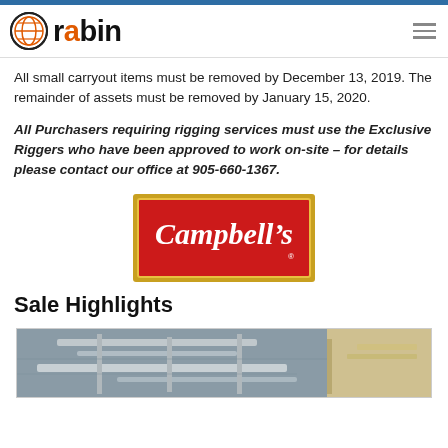rabin
All small carryout items must be removed by December 13, 2019. The remainder of assets must be removed by January 15, 2020.
All Purchasers requiring rigging services must use the Exclusive Riggers who have been approved to work on-site – for details please contact our office at 905-660-1367.
[Figure (logo): Campbell's soup logo — red background with gold border and white script text reading 'Campbell's']
Sale Highlights
[Figure (photo): Interior of industrial/food processing facility showing pipes, ducts, and equipment overhead]